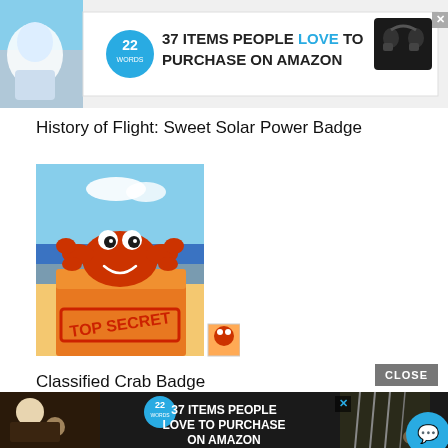[Figure (photo): Astronaut / space scene image cropped at left, with advertisement banner: '37 ITEMS PEOPLE LOVE TO PURCHASE ON AMAZON' with 22Words logo and headphones product image]
History of Flight: Sweet Solar Power Badge
[Figure (photo): Image of a mug or book cover featuring a cartoon crab with a beach scene and 'TOP SECRET' stamp, alongside a small thumbnail of the same image]
Classified Crab Badge
[Figure (photo): Advertisement banner: '37 ITEMS PEOPLE LOVE TO PURCHASE ON AMAZON' with 22Words logo, food/kitchen images in background, with CLOSE button and X button]